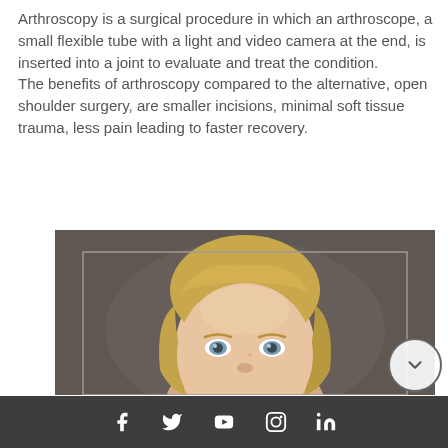Arthroscopy is a surgical procedure in which an arthroscope, a small flexible tube with a light and video camera at the end, is inserted into a joint to evaluate and treat the condition. The benefits of arthroscopy compared to the alternative, open shoulder surgery, are smaller incisions, minimal soft tissue trauma, less pain leading to faster recovery.
[Figure (photo): Professional headshot photo of a blonde woman with blue eyes against a dark gray background, cropped at forehead level showing the top of the face.]
Social media icons: Facebook, Twitter, YouTube, Instagram, LinkedIn